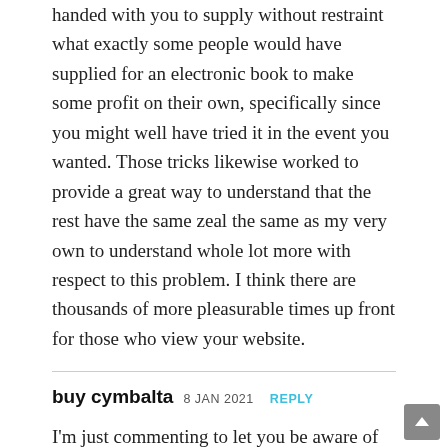handed with you to supply without restraint what exactly some people would have supplied for an electronic book to make some profit on their own, specifically since you might well have tried it in the event you wanted. Those tricks likewise worked to provide a great way to understand that the rest have the same zeal the same as my very own to understand whole lot more with respect to this problem. I think there are thousands of more pleasurable times up front for those who view your website.
buy cymbalta 8 JAN 2021 REPLY
I'm just commenting to let you be aware of of the exceptional discovery my cousin's child enjoyed going through your blog. She discovered a wide variety of